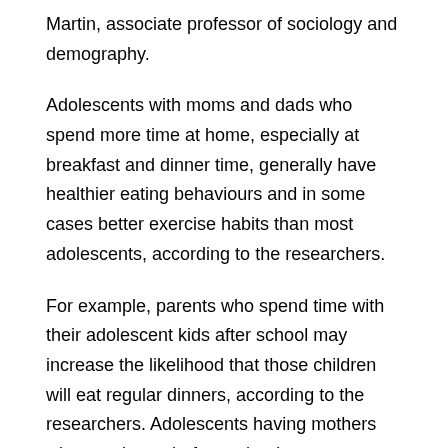Martin, associate professor of sociology and demography.
Adolescents with moms and dads who spend more time at home, especially at breakfast and dinner time, generally have healthier eating behaviours and in some cases better exercise habits than most adolescents, according to the researchers.
For example, parents who spend time with their adolescent kids after school may increase the likelihood that those children will eat regular dinners, according to the researchers. Adolescents having mothers who stay home before school are more likely to eat breakfast.
Regular meals at home can help children and adolescents avoid weight problems, Martin said.
“Eating at home can help control portion sizes, for example